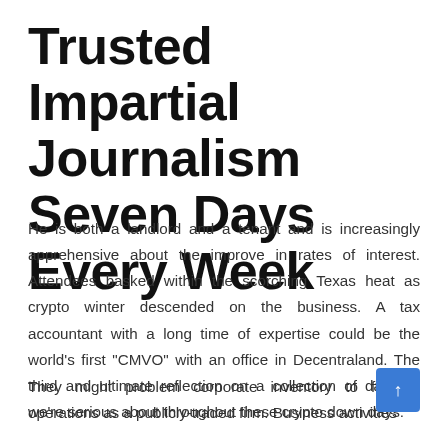Trusted Impartial Journalism Seven Days Every Week
He is both a landlord and a tenant and is increasingly apprehensive about the improve in rates of interest. Attendees basked within the scorching Texas heat as crypto winter descended on the business. A tax accountant with a long time of expertise could be the world's first "CMVO" with an office in Decentraland. The third and ultimate reflection on a collection of dangers we're serious about throughout these crypto down days.
They might problem corporate inventory to finance operations as a publicly-traded firm. Business activities